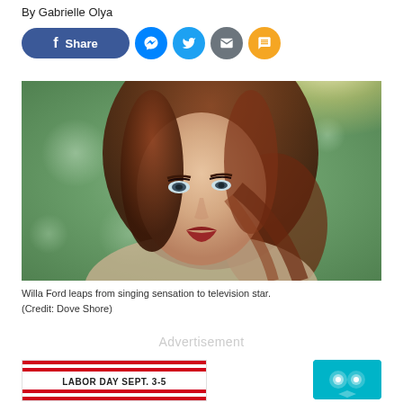By Gabrielle Olya
[Figure (other): Social share buttons: Facebook Share, Messenger, Twitter, Email, SMS]
[Figure (photo): Portrait photo of Willa Ford, a woman with long auburn/red hair, dramatic makeup, wearing a light floral top, posed against a soft bokeh green outdoor background with bright light]
Willa Ford leaps from singing sensation to television star. (Credit: Dove Shore)
Advertisement
[Figure (other): Labor Day Sept. 3-5 advertisement banner with red and white stripes]
[Figure (other): Teal colored advertisement banner icon]